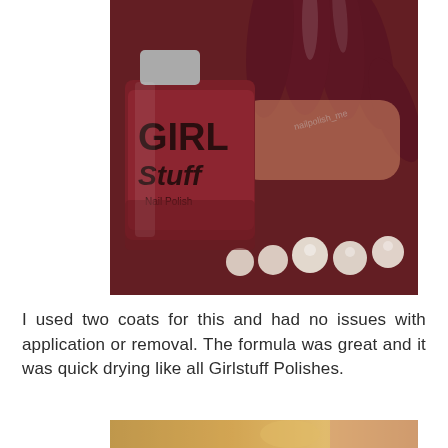[Figure (photo): Close-up photo of a hand with long dark burgundy/wine-colored nails holding a Girl Stuff nail polish bottle in the same deep red color, with pearl beads in the background. Watermark text partially visible.]
I used two coats for this and had no issues with application or removal. The formula was great and it was quick drying like all Girlstuff Polishes.
[Figure (photo): Partial close-up photo at the bottom of the page, showing blurred golden/yellow nail polish detail on a finger.]